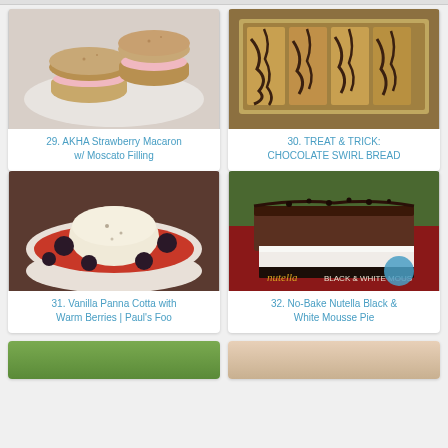[Figure (photo): Strawberry macarons with pink cream filling on a white plate]
29. AKHA Strawberry Macaron w/ Moscato Filling
[Figure (photo): Chocolate swirl bread slices in a baking pan]
30. TREAT & TRICK: CHOCOLATE SWIRL BREAD
[Figure (photo): Vanilla panna cotta with warm berries in a white bowl]
31. Vanilla Panna Cotta with Warm Berries | Paul's Foo
[Figure (photo): No-Bake Nutella Black and White Mousse Pie slice]
32. No-Bake Nutella Black & White Mousse Pie
[Figure (photo): Partial image of a floral or garden scene at bottom left]
[Figure (photo): Partial image at bottom right]